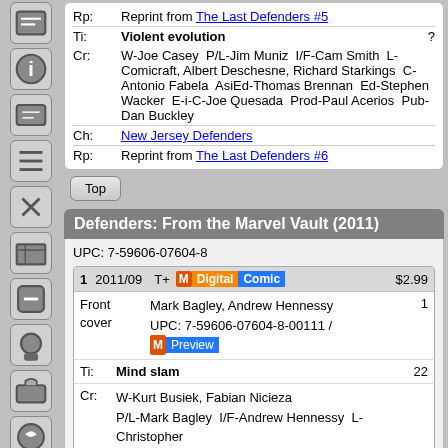| Label | Value |
| --- | --- |
| Rp: | Reprint from The Last Defenders #5 |
| Ti: | Violent evolution |
| Cr: | W-Joe Casey   P/L-Jim Muniz   I/F-Cam Smith   L-Comicraft, Albert Deschesne, Richard Starkings   C-Antonio Fabela   AsiEd-Thomas Brennan   Ed-Stephen Wacker   E-i-C-Joe Quesada   Prod-Paul Acerios   Pub-Dan Buckley |
| Ch: | New Jersey Defenders |
| Rp: | Reprint from The Last Defenders #6 |
Defenders: From the Marvel Vault (2011)
UPC: 7-59606-07604-8
| # | Date | Rating/Tags | Price |
| --- | --- | --- | --- |
| 1 | 2011/09 | T+ M Digital Comic | $2.99 |
| Front cover | Mark Bagley, Andrew Hennessy  UPC: 7-59606-07604-8-00111 / M Preview |  | 1 |
| Ti: | Mind slam |  | 22 |
| Cr: | W-Kurt Busiek, Fabian Nicieza  P/L-Mark Bagley   I/F-Andrew Hennessy   L-Christopher Eliopoulos   C-Christopher |  |  |